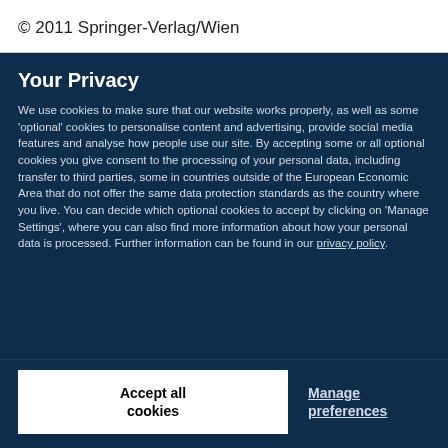© 2011 Springer-Verlag/Wien
Your Privacy
We use cookies to make sure that our website works properly, as well as some 'optional' cookies to personalise content and advertising, provide social media features and analyse how people use our site. By accepting some or all optional cookies you give consent to the processing of your personal data, including transfer to third parties, some in countries outside of the European Economic Area that do not offer the same data protection standards as the country where you live. You can decide which optional cookies to accept by clicking on 'Manage Settings', where you can also find more information about how your personal data is processed. Further information can be found in our privacy policy.
Accept all cookies
Manage preferences